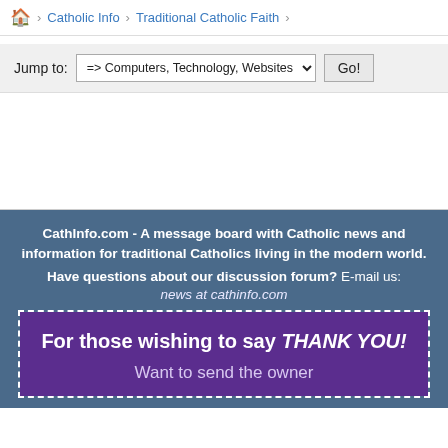🏠 Catholic Info › Traditional Catholic Faith ›
Jump to: => Computers, Technology, Websites ▾  Go!
[Figure (other): Advertisement/empty white space area]
CathInfo.com - A message board with Catholic news and information for traditional Catholics living in the modern world. Have questions about our discussion forum? E-mail us: news at cathinfo.com
For those wishing to say THANK YOU! Want to send the owner